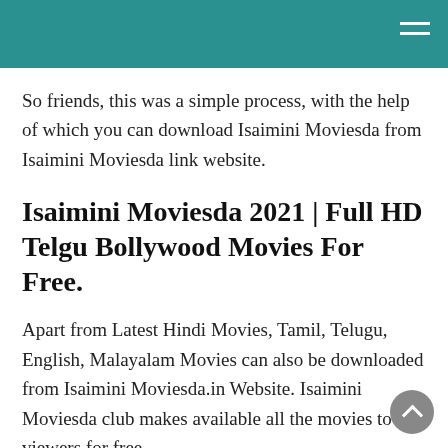So friends, this was a simple process, with the help of which you can download Isaimini Moviesda from Isaimini Moviesda link website.
Isaimini Moviesda 2021 | Full HD Telgu Bollywood Movies For Free.
Apart from Latest Hindi Movies, Tamil, Telugu, English, Malayalam Movies can also be downloaded from Isaimini Moviesda.in Website. Isaimini Moviesda club makes available all the movies to its viewers for free.